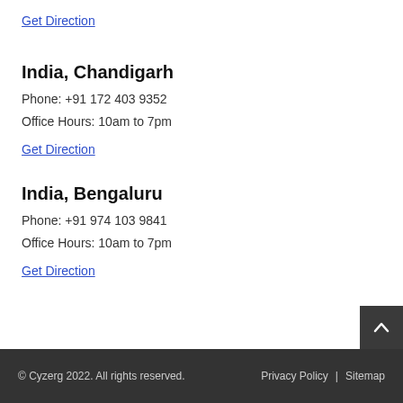Get Direction
India, Chandigarh
Phone: +91 172 403 9352
Office Hours: 10am to 7pm
Get Direction
India, Bengaluru
Phone: +91 974 103 9841
Office Hours: 10am to 7pm
Get Direction
© Cyzerg 2022. All rights reserved.   Privacy Policy  |  Sitemap